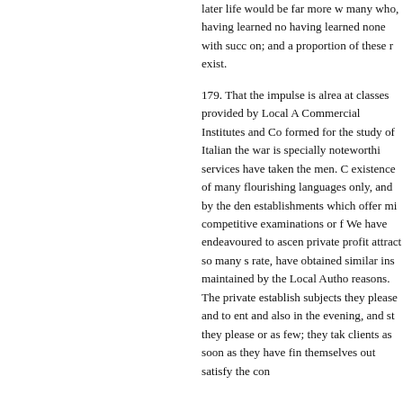later life would be far more w many who, having learned no having learned none with succ on; and a proportion of these r exist.
179. That the impulse is alrea at classes provided by Local A Commercial Institutes and Co formed for the study of Italian the war is specially noteworthi services have taken the men. C existence of many flourishing languages only, and by the den establishments which offer mi competitive examinations or f We have endeavoured to ascen private profit attract so many s rate, have obtained similar ins maintained by the Local Autho reasons. The private establish subjects they please and to ent and also in the evening, and st they please or as few; they tak clients as soon as they have fin themselves out satisfy the con